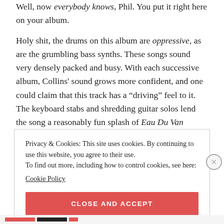Well, now everybody knows, Phil. You put it right here on your album.
Holy shit, the drums on this album are oppressive, as are the grumbling bass synths. These songs sound very densely packed and busy. With each successive album, Collins' sound grows more confident, and one could claim that this track has a “driving” feel to it. The keyboard stabs and shredding guitar solos lend the song a reasonably fun splash of Eau Du Van Halen.
Privacy & Cookies: This site uses cookies. By continuing to use this website, you agree to their use.
To find out more, including how to control cookies, see here:
Cookie Policy
CLOSE AND ACCEPT